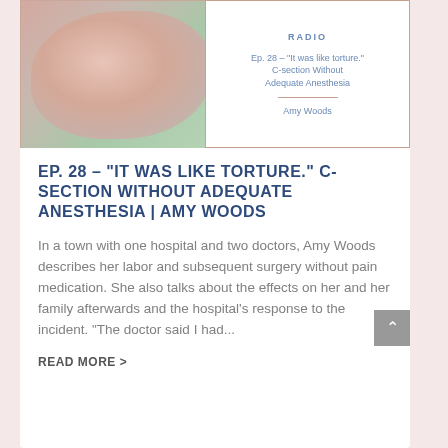[Figure (photo): Baby hand photo on left side of card, blurred green and pink tones]
RADIO
Ep. 28 – "It was like torture." C-section Without Adequate Anesthesia
Amy Woods
EP. 28 – "IT WAS LIKE TORTURE." C-SECTION WITHOUT ADEQUATE ANESTHESIA | AMY WOODS
In a town with one hospital and two doctors, Amy Woods describes her labor and subsequent surgery without pain medication. She also talks about the effects on her and her family afterwards and the hospital's response to the incident. "The doctor said I had...
READ MORE >